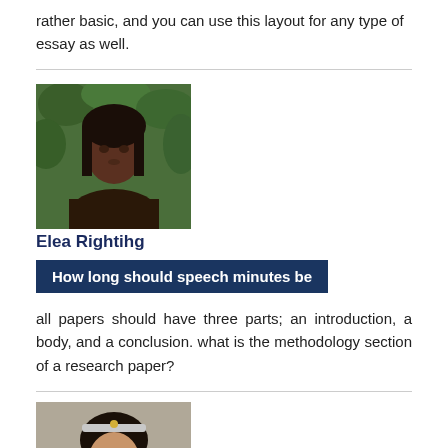rather basic, and you can use this layout for any type of essay as well.
[Figure (photo): Portrait photo of a woman with braided hair against a green leafy background]
Elea Rightihg
How long should speech minutes be
all papers should have three parts; an introduction, a body, and a conclusion. what is the methodology section of a research paper?
[Figure (photo): Portrait photo of a smiling woman with dark hair wearing a headband/tiara]